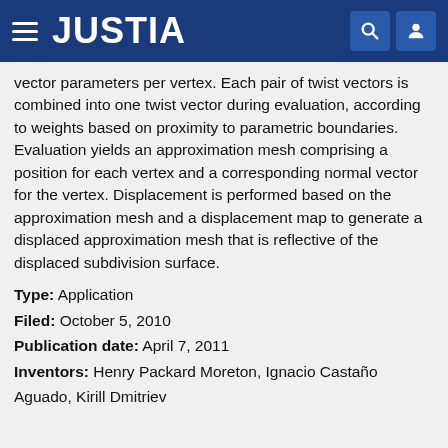JUSTIA
vector parameters per vertex. Each pair of twist vectors is combined into one twist vector during evaluation, according to weights based on proximity to parametric boundaries. Evaluation yields an approximation mesh comprising a position for each vertex and a corresponding normal vector for the vertex. Displacement is performed based on the approximation mesh and a displacement map to generate a displaced approximation mesh that is reflective of the displaced subdivision surface.
Type: Application
Filed: October 5, 2010
Publication date: April 7, 2011
Inventors: Henry Packard Moreton, Ignacio Castaño Aguado, Kirill Dmitriev